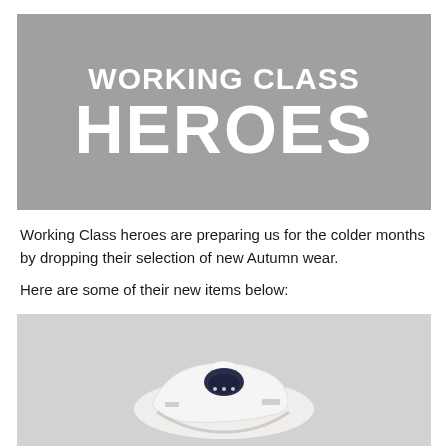[Figure (illustration): Grey banner with large white bold text reading 'WORKING CLASS HEROES']
Working Class heroes are preparing us for the colder months by dropping their selection of new Autumn wear.
Here are some of their new items below:
[Figure (photo): Product photo on light grey background showing white sneakers/shoes with dark navy interior, viewed from above at slight angle]